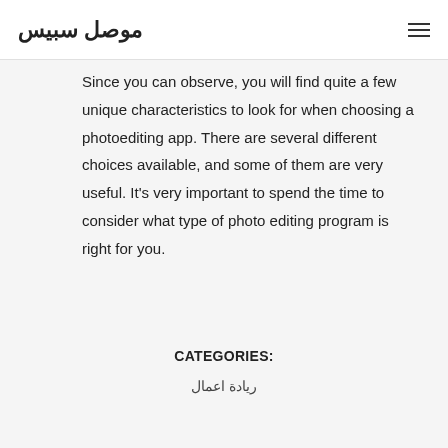موصل سبيس
Since you can observe, you will find quite a few unique characteristics to look for when choosing a photoediting app. There are several different choices available, and some of them are very useful. It’s very important to spend the time to consider what type of photo editing program is right for you.
CATEGORIES:
ريادة اعمال